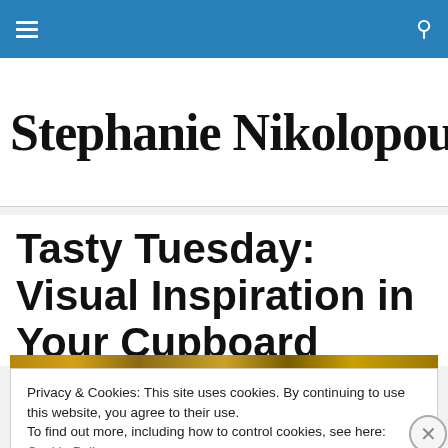Navigation bar with hamburger menu and search icon
Stephanie Nikolopoulos
Tasty Tuesday: Visual Inspiration in Your Cupboard
Privacy & Cookies: This site uses cookies. By continuing to use this website, you agree to their use.
To find out more, including how to control cookies, see here: Cookie Policy
Close and accept